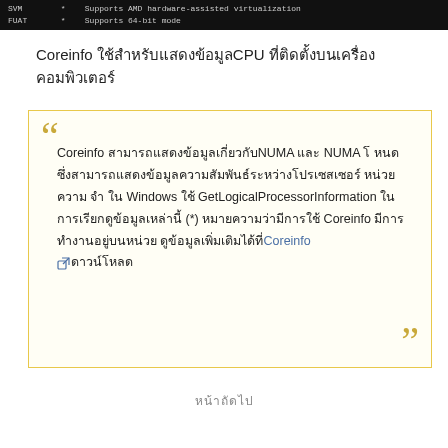[Figure (screenshot): Terminal/command output showing CPU virtualization info: SVM row with 'Supports AMD hardware-assisted virtualization' and FUAT row with 'Supports 64-bit mode']
Coreinfo ใช้สำหรับแสดงข้อมูลCPU ที่ติดตั้งบนเครื่องคอมพิวเตอร์
Coreinfo สามารถแสดงข้อมูลเกี่ยวกับ NUMA และ NUMA โหนด ซึ่งสามารถแสดงข้อมูลความสัมพันธ์ระหว่างโปรเซสเซอร์ หน่วยความจำ และ อุปกรณ์ต่างๆ Windows ใช้ GetLogicalProcessorInformation ในการเรียกดูข้อมูลเหล่านี้ (*) หมายความว่า Coreinfo มีการทำงานอยู่บนหน่วย ดูข้อมูลเพิ่มเติมได้ที่ Coreinfo ↗ดาวน์โหลด
หน้าถัดไป